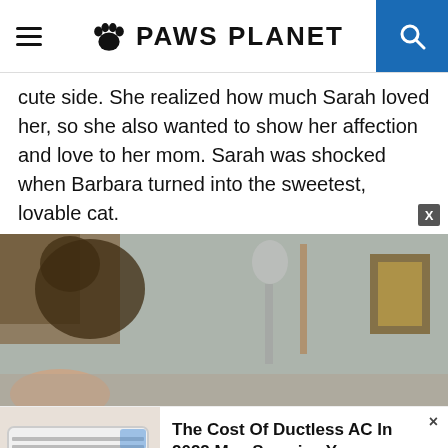PAWS PLANET
cute side. She realized how much Sarah loved her, so she also wanted to show her affection and love to her mom. Sarah was shocked when Barbara turned into the sweetest, lovable cat.
[Figure (photo): Close-up blurry photo of a cat on a shelf with decorative items and a framed picture on the wall in the background]
[Figure (photo): Advertisement photo showing a ductless air conditioning unit mounted on a wall]
The Cost Of Ductless AC In 2022 May Surprise You
Air Conditioners | Sponsored